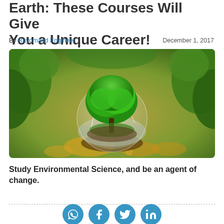Earth: These Courses Will Give You a Unique Career!
By Rayomand Engineer    December 1, 2017
[Figure (photo): A tree growing inside a cracked glass sphere, surrounded by green foliage and golden bokeh ground — symbolic of environmental science.]
Study Environmental Science, and be an agent of change.
[Figure (infographic): Social sharing icons: WhatsApp, Facebook, Twitter, LinkedIn]